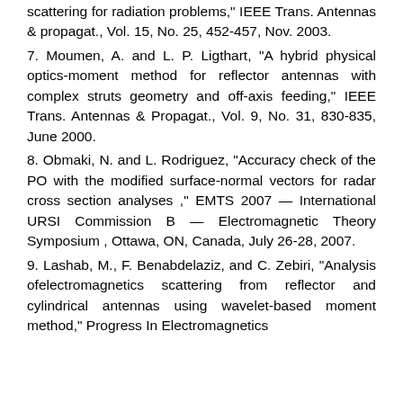scattering for radiation problems," IEEE Trans. Antennas & propagat., Vol. 15, No. 25, 452-457, Nov. 2003.
7. Moumen, A. and L. P. Ligthart, "A hybrid physical optics-moment method for reflector antennas with complex struts geometry and off-axis feeding," IEEE Trans. Antennas & Propagat., Vol. 9, No. 31, 830-835, June 2000.
8. Obmaki, N. and L. Rodriguez, "Accuracy check of the PO with the modified surface-normal vectors for radar cross section analyses ," EMTS 2007 — International URSI Commission B — Electromagnetic Theory Symposium , Ottawa, ON, Canada, July 26-28, 2007.
9. Lashab, M., F. Benabdelaziz, and C. Zebiri, "Analysis ofelectromagnetics scattering from reflector and cylindrical antennas using wavelet-based moment method," Progress In Electromagnetics